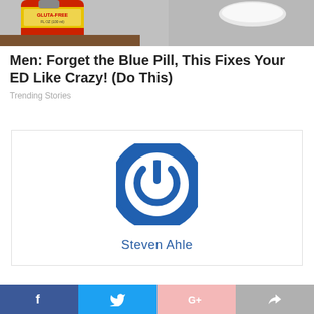[Figure (photo): Top portion of an image showing a bottle of hot sauce or similar condiment with a red label reading 'GLUTA-FREE', alongside a white bowl on a gray surface.]
Men: Forget the Blue Pill, This Fixes Your ED Like Crazy! (Do This)
Trending Stories
[Figure (logo): Blue circular power button icon with a white power symbol in the center, followed by the name 'Steven Ahle' in blue text.]
Steven Ahle